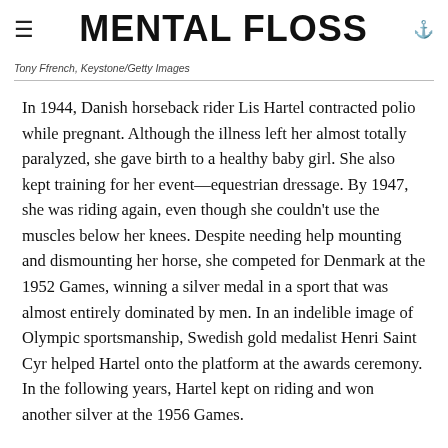MENTAL FLOSS
Tony Ffrench, Keystone/Getty Images
In 1944, Danish horseback rider Lis Hartel contracted polio while pregnant. Although the illness left her almost totally paralyzed, she gave birth to a healthy baby girl. She also kept training for her event—equestrian dressage. By 1947, she was riding again, even though she couldn't use the muscles below her knees. Despite needing help mounting and dismounting her horse, she competed for Denmark at the 1952 Games, winning a silver medal in a sport that was almost entirely dominated by men. In an indelible image of Olympic sportsmanship, Swedish gold medalist Henri Saint Cyr helped Hartel onto the platform at the awards ceremony. In the following years, Hartel kept on riding and won another silver at the 1956 Games.
Honorable Mentions:
The Sam Marsh...